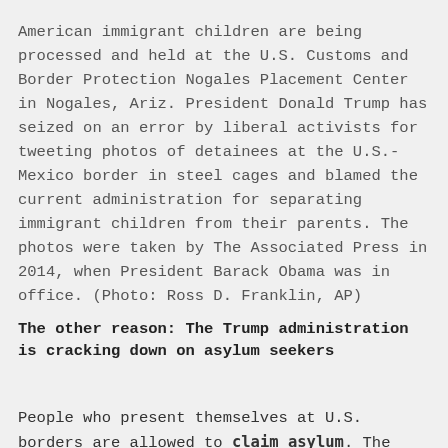American immigrant children are being processed and held at the U.S. Customs and Border Protection Nogales Placement Center in Nogales, Ariz. President Donald Trump has seized on an error by liberal activists for tweeting photos of detainees at the U.S.-Mexico border in steel cages and blamed the current administration for separating immigrant children from their parents. The photos were taken by The Associated Press in 2014, when President Barack Obama was in office. (Photo: Ross D. Franklin, AP)
The other reason: The Trump administration is cracking down on asylum seekers
People who present themselves at U.S. borders are allowed to claim asylum. The administration is taking a stronger stance on